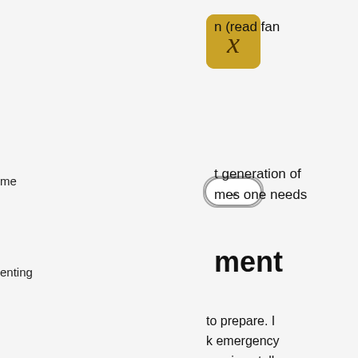[Figure (other): Gold/yellow square button with italic X in center, rounded corners]
n (read fan
[Figure (other): Oval/pill shaped dropdown chevron button with down-arrow symbol]
t generation of mes one needs
me
enting
rket Place
ment
k On My Feet
d's Voice
rriage-Remarriage
to prepare. I k emergency previous talk or rtips 110%.
pp